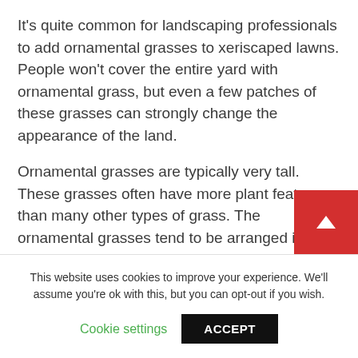It's quite common for landscaping professionals to add ornamental grasses to xeriscaped lawns. People won't cover the entire yard with ornamental grass, but even a few patches of these grasses can strongly change the appearance of the land.
Ornamental grasses are typically very tall. These grasses often have more plant features than many other types of grass. The ornamental grasses tend to be arranged in patches throughout a landscape.
People sometimes use ornamental grasses t
This website uses cookies to improve your experience. We'll assume you're ok with this, but you can opt-out if you wish.
Cookie settings
ACCEPT